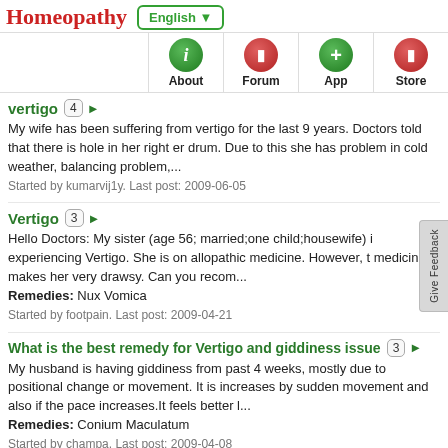Homeopathy | English
About | Forum | App | Store
vertigo 4
My wife has been suffering from vertigo for the last 9 years. Doctors told that there is hole in her right er drum. Due to this she has problem in cold weather, balancing problem,...
Started by kumarvij1y. Last post: 2009-06-05
Vertigo 3
Hello Doctors: My sister (age 56; married;one child;housewife) i experiencing Vertigo. She is on allopathic medicine. However, t medicine makes her very drawsy. Can you recom...
Remedies: Nux Vomica
Started by footpain. Last post: 2009-04-21
What is the best remedy for Vertigo and giddiness issue 3
My husband is having giddiness from past 4 weeks, mostly due to positional change or movement. It is increases by sudden movement and also if the pace increases.It feels better l...
Remedies: Conium Maculatum
Started by champa. Last post: 2009-04-08